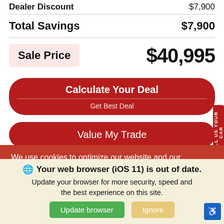Dealer Discount    $7,900
Total Savings    $7,900
Sale Price    $40,995
Calculate Your Deal
Get Best Deal
Value My Trade
SELL US YOUR CAR
We use cookies to optimize our website and our
Your web browser (iOS 11) is out of date. Update your browser for more security, speed and the best experience on this site.
Update browser
Ignore